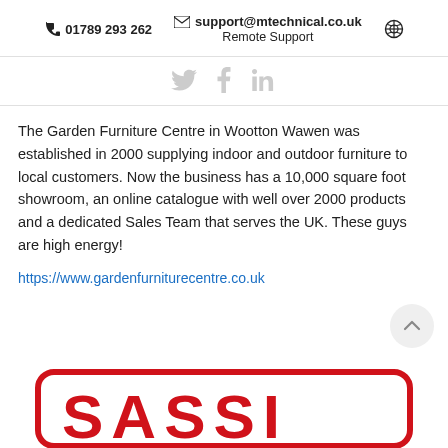☎ 01789 293 262   ✉ support@mtechnical.co.uk   🌐
Remote Support
[Figure (other): Social media icons: Twitter bird, Facebook f, LinkedIn in — displayed in light grey]
The Garden Furniture Centre in Wootton Wawen was established in 2000 supplying indoor and outdoor furniture to local customers. Now the business has a 10,000 square foot showroom, an online catalogue with well over 2000 products and a dedicated Sales Team that serves the UK. These guys are high energy!
https://www.gardenfurniturecentre.co.uk
[Figure (logo): Partial red SASSI logo visible at bottom of page, bold red letters on white background with rounded red border rectangle]